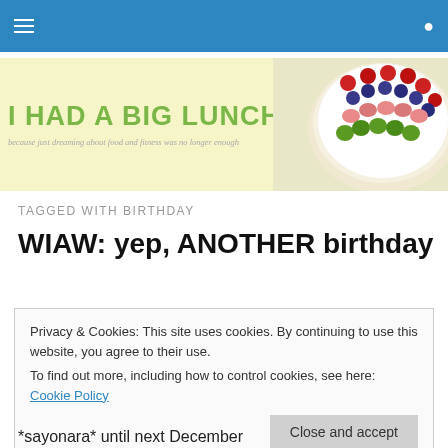[Figure (illustration): Blog banner with yellow background showing 'I HAD A BIG LUNCH' in large green bold text with italic subtitle 'because just dreaming about food and fitness was no longer enough', with a fruit tart/cake image on the right side]
TAGGED WITH BIRTHDAY
WIAW: yep, ANOTHER birthday
Privacy & Cookies: This site uses cookies. By continuing to use this website, you agree to their use.
To find out more, including how to control cookies, see here: Cookie Policy
Close and accept
*sayonara* until next December